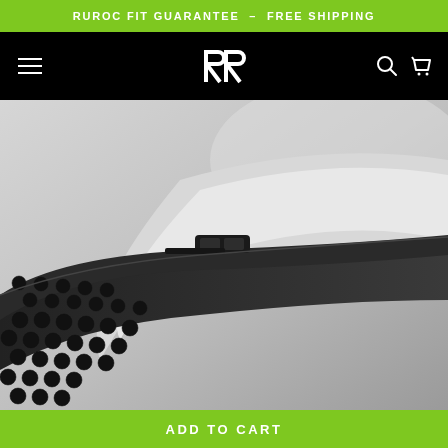RUROC FIT GUARANTEE – FREE SHIPPING
[Figure (logo): Ruroc brand logo — stylized double-R monogram in white on black navigation bar, with hamburger menu icon on left and search/cart icons on right]
[Figure (photo): Close-up macro photo of a Ruroc helmet component showing a black honeycomb-patterned structural element with hexagonal cutouts and a white/light grey smooth surface, photographed against a light grey background]
ADD TO CART